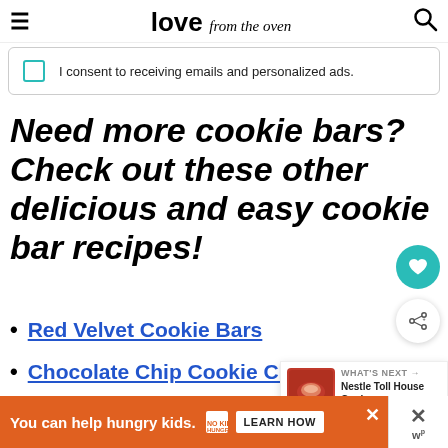love from the oven
I consent to receiving emails and personalized ads.
Need more cookie bars? Check out these other delicious and easy cookie bar recipes!
Red Velvet Cookie Bars
Chocolate Chip Cookie Cheesecake Bars
Seven Layer Bars
[Figure (infographic): What's Next promotional panel showing Nestle Toll House Cook... with a food image thumbnail and arrow indicator]
[Figure (infographic): Advertisement banner: You can help hungry kids. No Kid Hungry. Learn How button. Orange background with close button.]